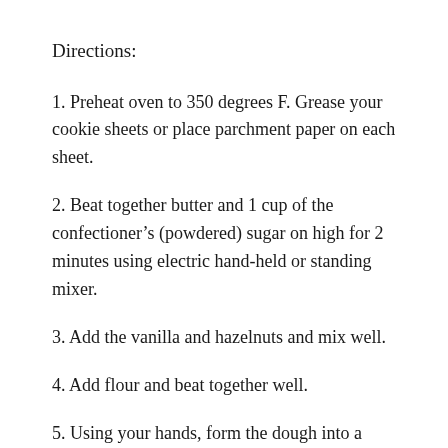Directions:
1. Preheat oven to 350 degrees F. Grease your cookie sheets or place parchment paper on each sheet.
2. Beat together butter and 1 cup of the confectioner’s (powdered) sugar on high for 2 minutes using electric hand-held or standing mixer.
3. Add the vanilla and hazelnuts and mix well.
4. Add flour and beat together well.
5. Using your hands, form the dough into a roll…